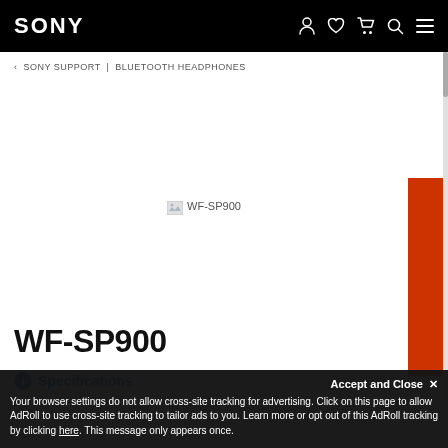SONY
‹ SONY SUPPORT | BLUETOOTH HEADPHONES
[Figure (photo): WF-SP900 product image (broken/unloaded), showing alt text 'WF-SP900' with orange sidebar strip on right]
WF-SP900
ⓘ Specifications
Accept and Close ✕
Your browser settings do not allow cross-site tracking for advertising. Click on this page to allow AdRoll to use cross-site tracking to tailor ads to you. Learn more or opt out of this AdRoll tracking by clicking here. This message only appears once.